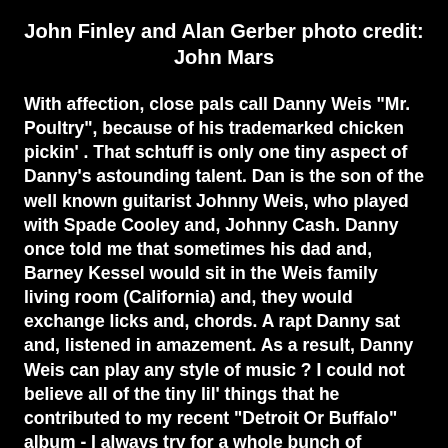John Finley and Alan Gerber photo credit: John Mars
With affection, close pals call Danny Weis "Mr. Poultry", because of his trademarked chicken pickin' . That schtuff is only one tiny aspect of Danny's astounding talent. Dan is the son of the well known guitarist Johnny Weis, who played with Spade Cooley and, Johnny Cash. Danny once told me that sometimes his dad and, Barney Kessel would sit in the Weis family living room (California) and, they would exchange licks and, chords. A rapt Danny sat and, listened in amazement. As a result, Danny Weis can play any style of music ? I could not believe all of the tiny lil' things that he contributed to my recent "Detroit Or Buffalo" album - I always try for a whole bunch of different styles on each album and, so Dan's contributions were always perfect. He can just play in whatever style you need him to do. It's not like I had to give him any directions? He even wrote a piano...